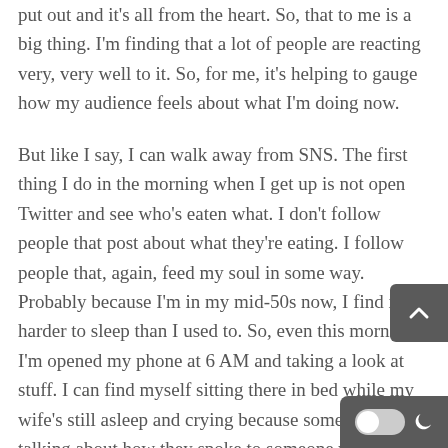put out and it's all from the heart. So, that to me is a big thing. I'm finding that a lot of people are reacting very, very well to it. So, for me, it's helping to gauge how my audience feels about what I'm doing now.
But like I say, I can walk away from SNS. The first thing I do in the morning when I get up is not open Twitter and see who's eaten what. I don't follow people that post about what they're eating. I follow people that, again, feed my soul in some way. Probably because I'm in my mid-50s now, I find it harder to sleep than I used to. So, even this morning, I'm opened my phone at 6 AM and taking a look at stuff. I can find myself sitting there in bed while my wife's still asleep and crying because someone's talking about how they spoke to someone who's on a respirator, or hooked up to a